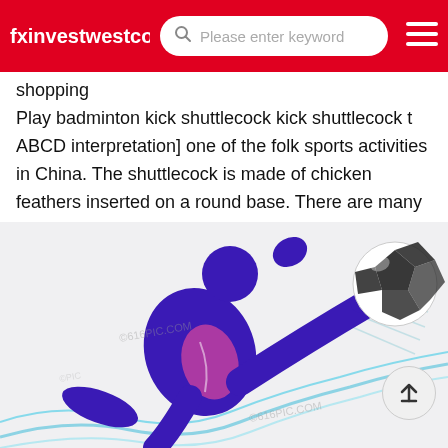fxinvestwestcoas  Please enter keyword
shopping
Play badminton kick shuttlecock kick shuttlecock t ABCD interpretation] one of the folk sports activities in China. The shuttlecock is made of chicken feathers inserted on a round base. There are many kinds of kicks. You can
[Figure (illustration): Illustration of a soccer/football player in blue and purple performing a bicycle kick, with a soccer ball in the upper right, and flowing blue swoosh lines in the background. Watermark '616PIC.COM' visible.]